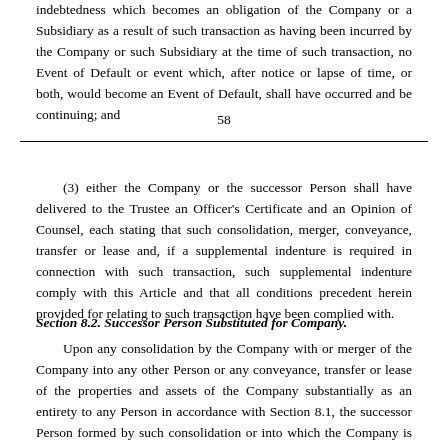indebtedness which becomes an obligation of the Company or a Subsidiary as a result of such transaction as having been incurred by the Company or such Subsidiary at the time of such transaction, no Event of Default or event which, after notice or lapse of time, or both, would become an Event of Default, shall have occurred and be continuing; and
58
(3) either the Company or the successor Person shall have delivered to the Trustee an Officer's Certificate and an Opinion of Counsel, each stating that such consolidation, merger, conveyance, transfer or lease and, if a supplemental indenture is required in connection with such transaction, such supplemental indenture comply with this Article and that all conditions precedent herein provided for relating to such transaction have been complied with.
Section 8.2. Successor Person Substituted for Company.
Upon any consolidation by the Company with or merger of the Company into any other Person or any conveyance, transfer or lease of the properties and assets of the Company substantially as an entirety to any Person in accordance with Section 8.1, the successor Person formed by such consolidation or into which the Company is merged or to which such conveyance, transfer or lease is made shall succeed to, and be substituted for, and may exercise every right and power of, the Company under this Indenture with the same effect as if such